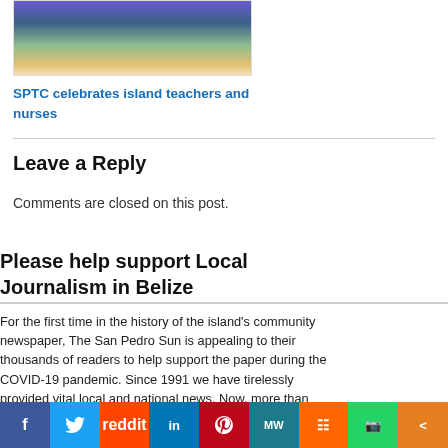[Figure (photo): Partial view of a group photo showing people's legs and lower bodies, colorful clothing]
SPTC celebrates island teachers and nurses
Leave a Reply
Comments are closed on this post.
Please help support Local Journalism in Belize
For the first time in the history of the island's community newspaper, The San Pedro Sun is appealing to their thousands of readers to help support the paper during the COVID-19 pandemic. Since 1991 we have tirelessly provided vital local and national news. Now, more than ever, our community depends on us for trustworthy reporting, but our hard work comes with a cost. We need your support to keep delivering the news you rely
[Figure (infographic): Social sharing bar with buttons: Facebook, Twitter, Reddit, LinkedIn, Pinterest, MeWe, Mix, WhatsApp, Share]